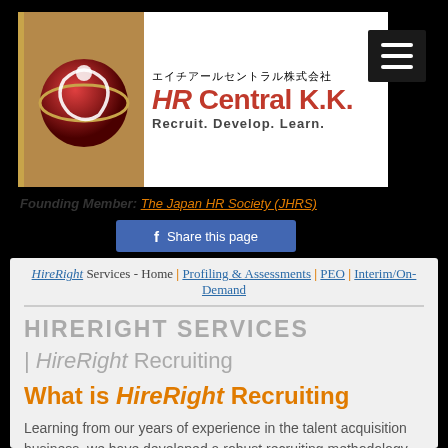[Figure (logo): HR Central K.K. logo with Japanese text エイチアールセントラル株式会社, red globe icon, tagline Recruit. Develop. Learn.]
Founding Member: The Japan HR Society (JHRS)
Share this page
HireRight Services - Home | Profiling & Assessments | PEO | Interim/On-Demand
HIRERIGHT SERVICES | HireRight Recruiting
What is HireRight Recruiting
Learning from our years of experience in the talent acquisition business, we have developed a robust recruiting methodology we aptly call the HireRight Recruiting.
HireRight is based on best-in-class hiring practices and a comprehensive and full-proof profiling system which when used in